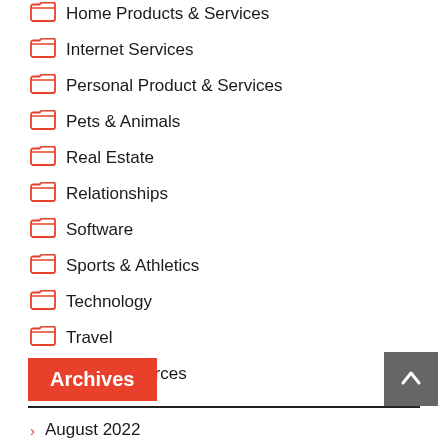Home Products & Services
Internet Services
Personal Product & Services
Pets & Animals
Real Estate
Relationships
Software
Sports & Athletics
Technology
Travel
Web Resources
Archives
August 2022